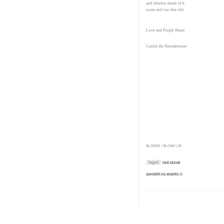and shiniest shade of b[londe in the] room and run that shit.
Love and Purple Sham[poo,]
Caitlin the Blondemaste[r]
BLONDE / BLOND | 20[XX]
Tagged  best blonde [specialist] specialist los angeles, [...]